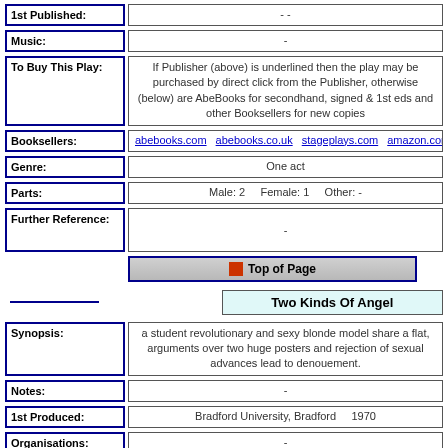| Field | Value |
| --- | --- |
| 1st Published: | - - |
| Music: | - |
| To Buy This Play: | If Publisher (above) is underlined then the play may be purchased by direct click from the Publisher, otherwise (below) are AbeBooks for secondhand, signed & 1st eds and other Booksellers for new copies |
| Booksellers: | abebooks.com  abebooks.co.uk  stageplays.com  amazon.com  amazon.co.uk  am... |
| Genre: | One act |
| Parts: | Male: 2    Female: 1    Other: - |
| Further Reference: | - |
| (Top of Page button) |  |
| (Two Kinds Of Angel title) |  |
| Synopsis: | a student revolutionary and sexy blonde model share a flat, arguments over two huge posters and rejection of sexual advances lead to denouement. |
| Notes: | - |
| 1st Produced: | Bradford University, Bradford    1970 |
| Organisations: | - |
| 1st Published: | in "the London Fringe theatre", Burnham House, London. Ed V E Mitchell, 1975  - |
| Music: | - |
| To Buy This | If Publisher (above) is underlined then the play may be |